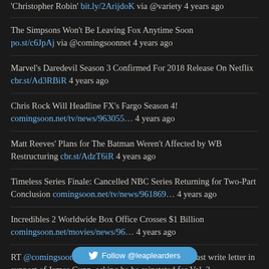'Christopher Robin' bit.ly/2ArijdoK via @variety 4 years ago
The Simpsons Won't Be Leaving Fox Anytime Soon po.st/c6JpAj via @comingsoonnet 4 years ago
Marvel's Daredevil Season 3 Confirmed For 2018 Release On Netflix cbr.st/Ad3RBiR 4 years ago
Chris Rock Will Headline FX's Fargo Season 4! comingsoon.net/tv/news/963055... 4 years ago
Matt Reeves' Plans for The Batman Weren't Affected by WB Restructuring cbr.st/AdzT6iR 4 years ago
Timeless Series Finale: Cancelled NBC Series Returning for Two-Part Conclusion comingsoon.net/tv/news/961869... 4 years ago
Incredibles 2 Worldwide Box Office Crosses $1 Billion comingsoon.net/movies/news/96... 4 years ago
RT @comingsoonnet: The Guardians of the Galaxy cast write letter in support of James Gunn, asking he be reinstated for Vol. 3 https://t.co/... 4 years ago
Follow @leaplearders